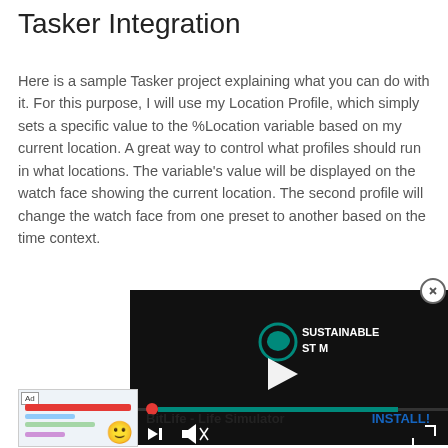Tasker Integration
Here is a sample Tasker project explaining what you can do with it. For this purpose, I will use my Location Profile, which simply sets a specific value to the %Location variable based on my current location. A great way to control what profiles should run in what locations. The variable's value will be displayed on the watch face showing the current location. The second profile will change the watch face from one preset to another based on the time context.
[Figure (screenshot): Video player showing 'Sustainable Stream' logo with play button, progress bar, and media controls on dark background]
[Figure (screenshot): Ad banner for BitLife - Life Simulator with emoji graphic, Ad label, and INSTALL! button]